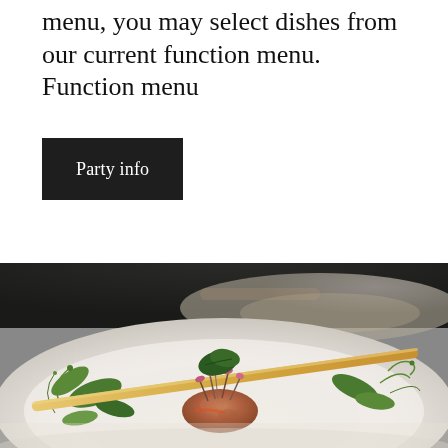menu, you may select dishes from our current function menu. Function menu
Party info
[Figure (photo): Close-up photo of a gourmet dish on a white plate: a salmon or crab cake topped with micro greens and sprouts, crossed by a breadstick, surrounded by fresh herbs and greens, on a white bowl/plate, with another dish blurred in the background.]